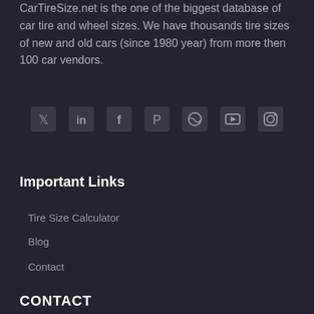CarTireSize.net is the one of the biggest database of car tire and wheel sizes. We have thousands tire sizes of new and old cars (since 1980 year) from more then 100 car vendors.
[Figure (infographic): Row of 7 social media icons: Twitter, LinkedIn, Facebook, Pinterest, Dribbble, YouTube, Instagram]
Important Links
Tire Size Calculator
Blog
Contact
CONTACT
You have any Question?
Contact us
000 8888 999